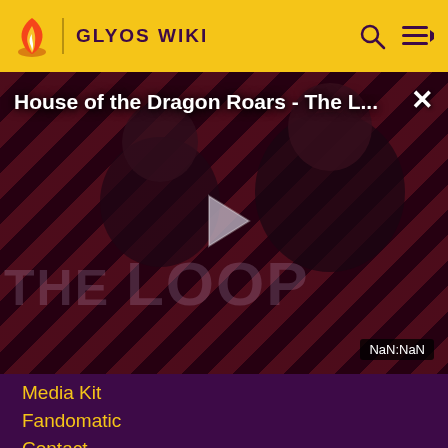GLYOS WIKI
[Figure (screenshot): Video player showing 'House of the Dragon Roars - The L...' with a play button, striped background, two people visible, THE LOOP text watermark, close button (×), and NaN:NaN timestamp indicator.]
Media Kit
Fandomatic
Contact